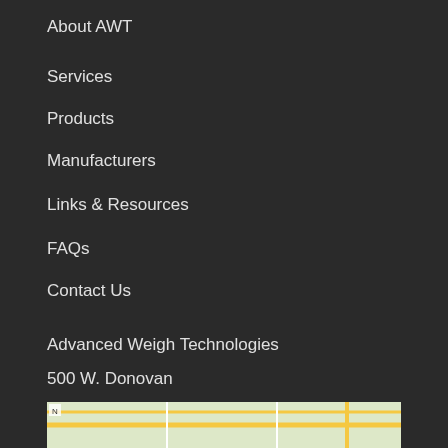About AWT
Services
Products
Manufacturers
Links & Resources
FAQs
Contact Us
Advanced Weigh Technologies
500 W. Donovan
Houston, TX 77091
713-691-4878
Sales@AWTScale.com
[Figure (map): Street map showing location of AWT in Houston, TX]